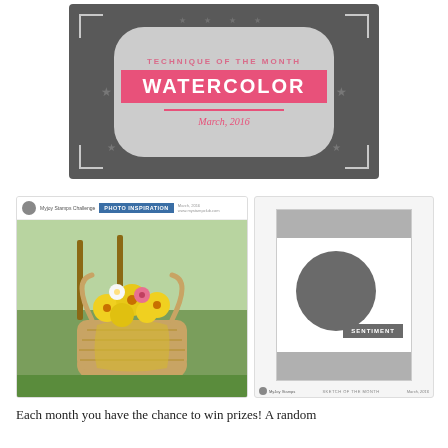[Figure (illustration): Dark gray banner graphic for 'Technique of the Month: WATERCOLOR, March, 2016' with decorative corner brackets, stars, and a pink highlight box]
[Figure (photo): Photo of a woven basket filled with yellow and pink flowers on grass, with 'Photo Inspiration' header label]
[Figure (illustration): Card sketch layout showing gray bands at top and bottom, a large gray circle, and a 'SENTIMENT' label box]
Each month you have the chance to win prizes! A random